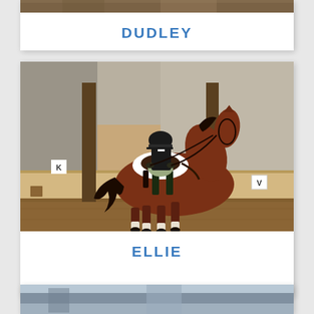[Figure (photo): Partial top edge of a photo showing a horse, cropped at the very top of the page]
DUDLEY
[Figure (photo): A rider in black helmet and jacket on a chestnut horse with white saddle pad performing dressage in an indoor sand arena with wooden walls and dressage markers]
ELLIE
[Figure (photo): Partial bottom strip of another horse photo, cropped at the bottom of the page, showing a grey/blue toned scene]